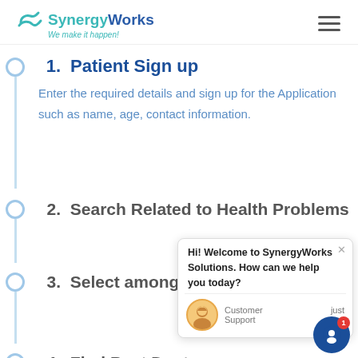SynergyWorks — We make it happen!
1. Patient Sign up — Enter the required details and sign up for the Application such as name, age, contact information.
2. Search Related to Health Problems
3. Select among the list of specialists
4. Find Best Doctor
[Figure (screenshot): Chat popup overlay: Hi! Welcome to SynergyWorks Solutions. How can we help you today? Customer Support — just now]